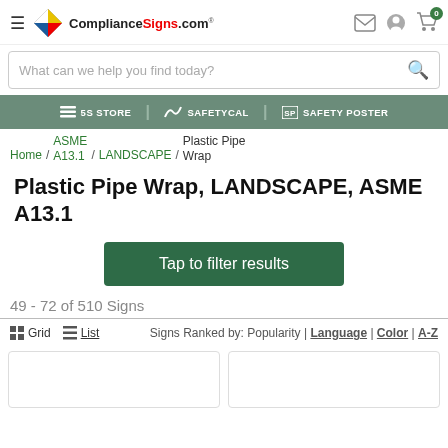ComplianceSigns.com
What can we help you find today?
5S STORE | SAFETYCAL | SAFETY POSTER
Home / ASME A13.1 / LANDSCAPE / Plastic Pipe Wrap
Plastic Pipe Wrap, LANDSCAPE, ASME A13.1
Tap to filter results
49 - 72 of 510 Signs
Grid  List  Signs Ranked by: Popularity | Language | Color | A-Z